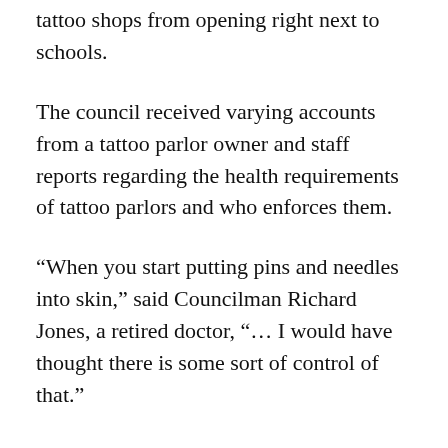tattoo shops from opening right next to schools.
The council received varying accounts from a tattoo parlor owner and staff reports regarding the health requirements of tattoo parlors and who enforces them.
“When you start putting pins and needles into skin,” said Councilman Richard Jones, a retired doctor, “… I would have thought there is some sort of control of that.”
Jones said he worries that unsuspecting members of the public could contract hepatitis or other diseases from dirty